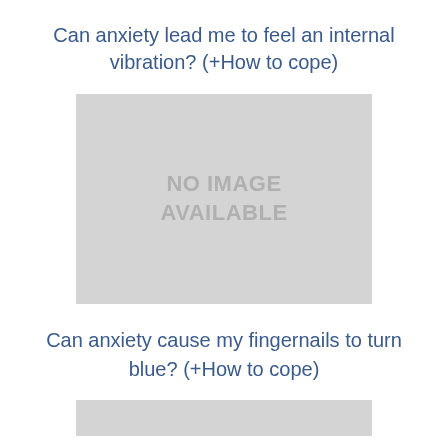Can anxiety lead me to feel an internal vibration? (+How to cope)
[Figure (photo): No image available placeholder box]
Can anxiety cause my fingernails to turn blue? (+How to cope)
[Figure (photo): No image available placeholder box (partially visible)]